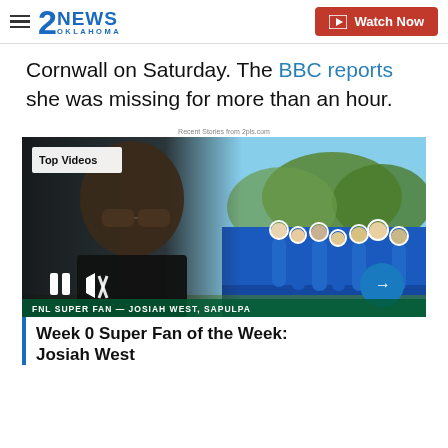2NEWS OKLAHOMA | Watch Now
Cornwall on Saturday. The BBC reports she was missing for more than an hour.
Recent Stories from 2pls.com
[Figure (screenshot): Video thumbnail showing a young man with sunglasses in front of a football team. Overlay shows 'Top Videos' badge, player controls (pause, mute), an arrow button, and 'FNL SUPER FAN — JOSIAH WEST, SAPULPA' text bar.]
Week 0 Super Fan of the Week: Josiah West